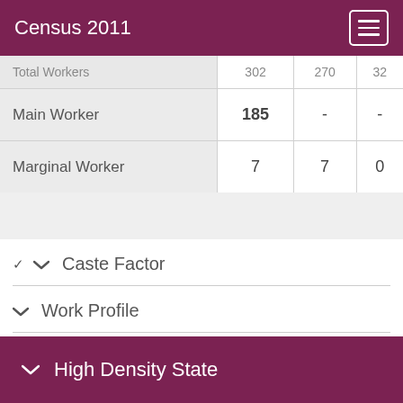Census 2011
|  |  |  |  |
| --- | --- | --- | --- |
| Total Workers | 302 | 270 | 32 |
| Main Worker | 185 | - | - |
| Marginal Worker | 7 | 7 | 0 |
Caste Factor
Work Profile
High Density State